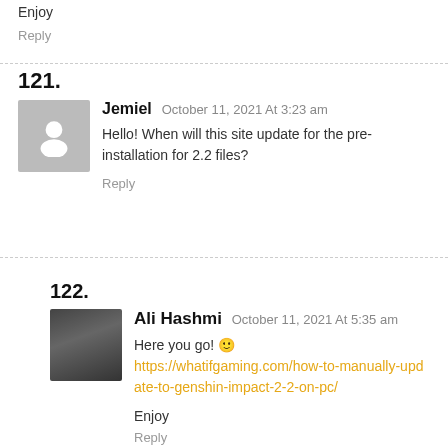Enjoy
Reply
121. Jemiel October 11, 2021 At 3:23 am — Hello! When will this site update for the pre-installation for 2.2 files? Reply
122. Ali Hashmi October 11, 2021 At 5:35 am — Here you go! 🙂 https://whatifgaming.com/how-to-manually-update-to-genshin-impact-2-2-on-pc/ Enjoy Reply